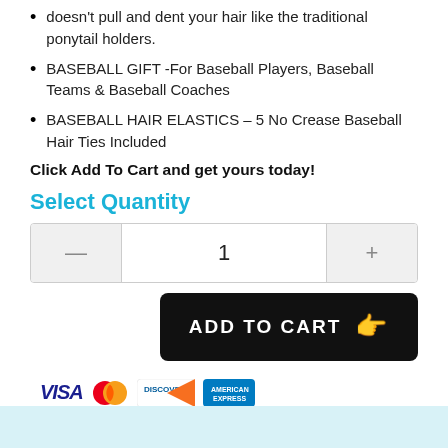doesn't pull and dent your hair like the traditional ponytail holders.
BASEBALL GIFT -For Baseball Players, Baseball Teams & Baseball Coaches
BASEBALL HAIR ELASTICS – 5 No Crease Baseball Hair Ties Included
Click Add To Cart and get yours today!
Select Quantity
[Figure (other): Quantity selector with minus button, number 1, and plus button]
[Figure (other): Add to Cart button with pointing hand emoji]
[Figure (other): Payment icons: Visa, Mastercard, Discover, American Express]